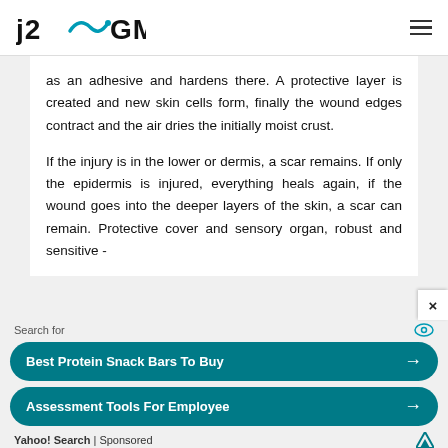j2GMN
as an adhesive and hardens there. A protective layer is created and new skin cells form, finally the wound edges contract and the air dries the initially moist crust.
If the injury is in the lower or dermis, a scar remains. If only the epidermis is injured, everything heals again, if the wound goes into the deeper layers of the skin, a scar can remain. Protective cover and sensory organ, robust and sensitive -
Search for
Best Protein Snack Bars To Buy
Assessment Tools For Employee
Yahoo! Search | Sponsored